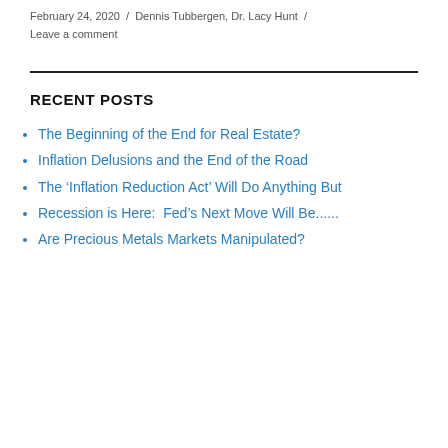February 24, 2020 / Dennis Tubbergen, Dr. Lacy Hunt / Leave a comment
RECENT POSTS
The Beginning of the End for Real Estate?
Inflation Delusions and the End of the Road
The ‘Inflation Reduction Act’ Will Do Anything But
Recession is Here:  Fed’s Next Move Will Be......
Are Precious Metals Markets Manipulated?